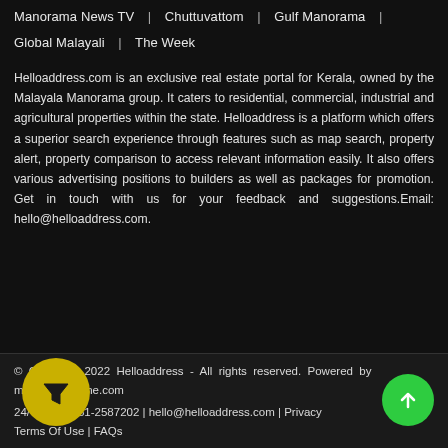Manorama News TV | Chuttuvattom | Gulf Manorama |
Global Malayali | The Week
Helloaddress.com is an exclusive real estate portal for Kerala, owned by the Malayala Manorama group. It caters to residential, commercial, industrial and agricultural properties within the state. Helloaddress is a platform which offers a superior search experience through features such as map search, property alert, property comparison to access relevant information easily. It also offers various advertising positions to builders as well as packages for promotion. Get in touch with us for your feedback and suggestions.Email: hello@helloaddress.com.
© Copyright 2022 Helloaddress - All rights reserved. Powered by manoramaonline.com
24/ : 0481-2587202 | hello@helloaddress.com | Privacy | Terms Of Use | FAQs